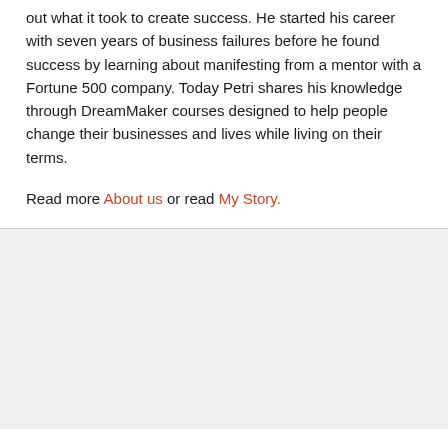out what it took to create success. He started his career with seven years of business failures before he found success by learning about manifesting from a mentor with a Fortune 500 company. Today Petri shares his knowledge through DreamMaker courses designed to help people change their businesses and lives while living on their terms.
Read more About us or read My Story.